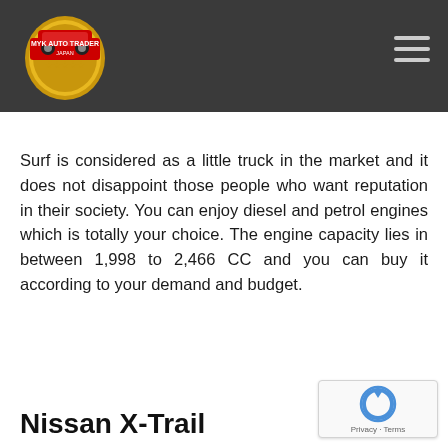MYK AUTO TRADER JAPAN
Surf is considered as a little truck in the market and it does not disappoint those people who want reputation in their society. You can enjoy diesel and petrol engines which is totally your choice. The engine capacity lies in between 1,998 to 2,466 CC and you can buy it according to your demand and budget.
Nissan X-Trail